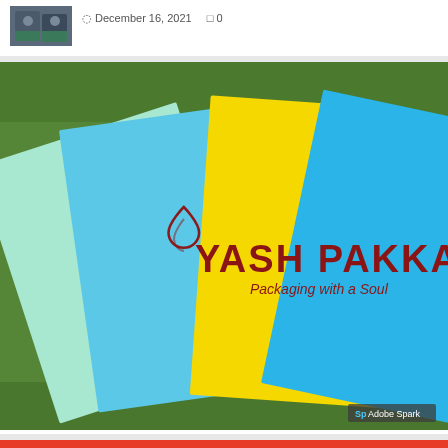December 16, 2021   0
[Figure (photo): Yash Pakka branding photo showing colorful paper sheets (mint, light blue, yellow, blue) fanned out on green grass, with Yash Pakka 'Packaging with a Soul' logo visible. Adobe Spark watermark in bottom right.]
Adobe Spark